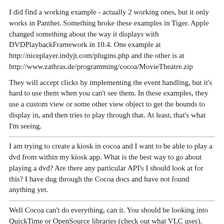I did find a working example - actually 2 working ones, but it only works in Panther. Something broke these examples in Tiger. Apple changed something about the way it displays with DVDPlaybackFramework in 10.4. One example at http://niceplayer.indyjt.com/plugins.php and the other is at http://www.zathras.de/programming/cocoa/MovieTheatre.zip
They will accept clicks by implementing the event handling, but it's hard to use them when you can't see them. In these examples, they use a custom view or some other view object to get the bounds to display in, and then tries to play through that. At least, that's what I'm seeing.
I am trying to create a kiosk in cocoa and I want to be able to play a dvd from within my kiosk app. What is the best way to go about playing a dvd? Are there any particular API's I should look at for this? I have dug through the Cocoa docs and have not found anything yet.
Well Cocoa can't do everything, can it. You should be looking into QuickTime or OpenSource libraries (check out what VLC uses).